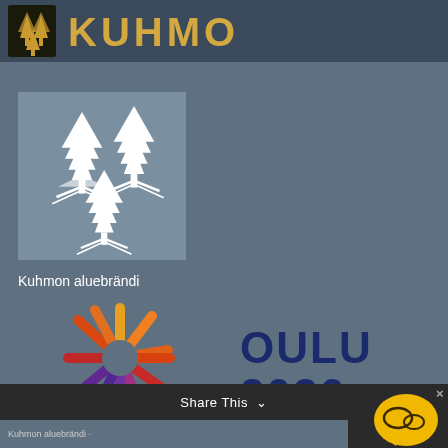[Figure (logo): Kuhmo municipality header with coat of arms crest and KUHMO text in gold on dark background]
[Figure (illustration): Kuhmon aluebrändi - grey square with three white stylized spruce/fir trees arranged in a triangle pattern]
Kuhmon aluebrändi
[Figure (logo): Oulu 2026 European Capital of Culture logo with colorful sun/snowflake symbol on the left and OULU 2026 text in dark blue on the right]
[Figure (screenshot): Share This bar with dropdown chevron at bottom, and yellow chat bubble icon with close X button in bottom right corner]